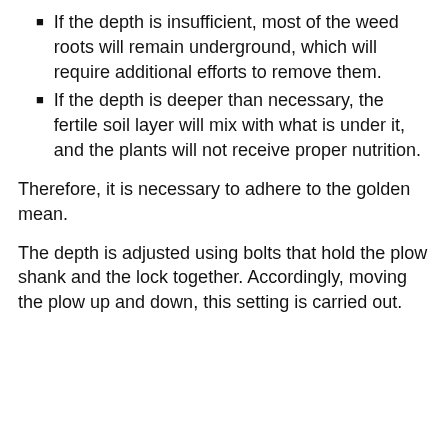If the depth is insufficient, most of the weed roots will remain underground, which will require additional efforts to remove them.
If the depth is deeper than necessary, the fertile soil layer will mix with what is under it, and the plants will not receive proper nutrition.
Therefore, it is necessary to adhere to the golden mean.
The depth is adjusted using bolts that hold the plow shank and the lock together. Accordingly, moving the plow up and down, this setting is carried out.